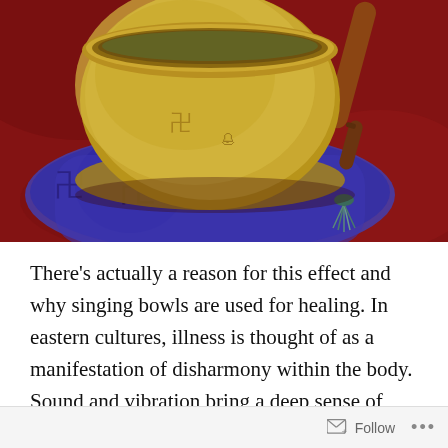[Figure (photo): A Tibetan singing bowl with engraved symbols resting on a blue silk cushion with tassels, on a red furry surface, with a wooden mallet beside it.]
There's actually a reason for this effect and why singing bowls are used for healing. In eastern cultures, illness is thought of as a manifestation of disharmony within the body.  Sound and vibration bring a deep sense of peace, releasing tension and blocked energy, balancing chakras / energy centers in the body helping restore harmony. The